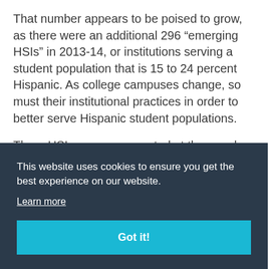That number appears to be poised to grow, as there were an additional 296 “emerging HSIs” in 2013-14, or institutions serving a student population that is 15 to 24 percent Hispanic. As college campuses change, so must their institutional practices in order to better serve Hispanic student populations.
Three HSIs were represented at the panel:
[Figure (screenshot): Cookie consent banner overlay with dark background reading 'This website uses cookies to ensure you get the best experience on our website.' with a 'Learn more' link and a teal 'Got it!' button.]
...SUN); ...is at ...within ...ne Harrison, “I think the temptation when you